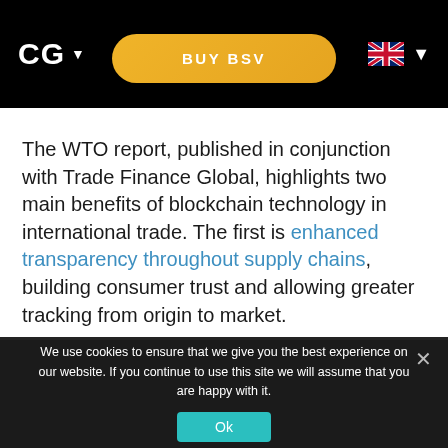CG ▾
[Figure (other): Yellow rounded rectangle button labeled BUY BSV]
The WTO report, published in conjunction with Trade Finance Global, highlights two main benefits of blockchain technology in international trade. The first is enhanced transparency throughout supply chains, building consumer trust and allowing greater tracking from origin to market.
We use cookies to ensure that we give you the best experience on our website. If you continue to use this site we will assume that you are happy with it.